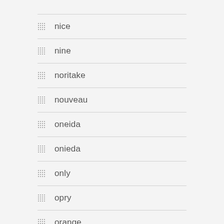nice
nine
noritake
nouveau
oneida
onieda
only
opry
orange
orbrille
original